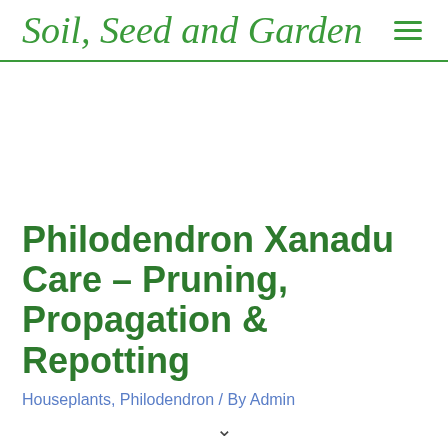Soil, Seed and Garden
Philodendron Xanadu Care – Pruning, Propagation & Repotting
Houseplants, Philodendron / By Admin